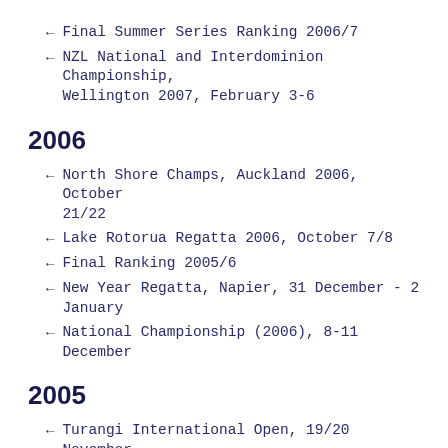Final Summer Series Ranking 2006/7
NZL National and Interdominion Championship, Wellington 2007, February 3-6
2006
North Shore Champs, Auckland 2006, October 21/22
Lake Rotorua Regatta 2006, October 7/8
Final Ranking 2005/6
New Year Regatta, Napier, 31 December - 2 January
National Championship (2006), 8-11 December
2005
Turangi International Open, 19/20 November
Worser Bay Hurricane Classic 2005, November